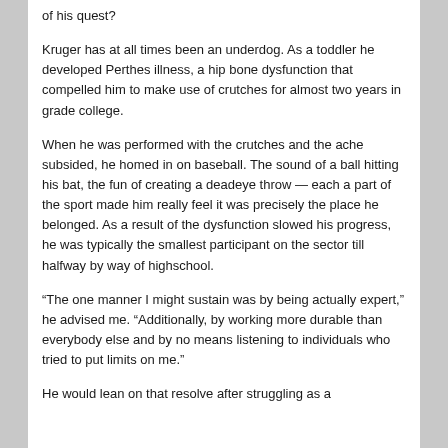of his quest?
Kruger has at all times been an underdog. As a toddler he developed Perthes illness, a hip bone dysfunction that compelled him to make use of crutches for almost two years in grade college.
When he was performed with the crutches and the ache subsided, he homed in on baseball. The sound of a ball hitting his bat, the fun of creating a deadeye throw — each a part of the sport made him really feel it was precisely the place he belonged. As a result of the dysfunction slowed his progress, he was typically the smallest participant on the sector till halfway by way of highschool.
“The one manner I might sustain was by being actually expert,” he advised me. “Additionally, by working more durable than everybody else and by no means listening to individuals who tried to put limits on me.”
He would lean on that resolve after struggling as a